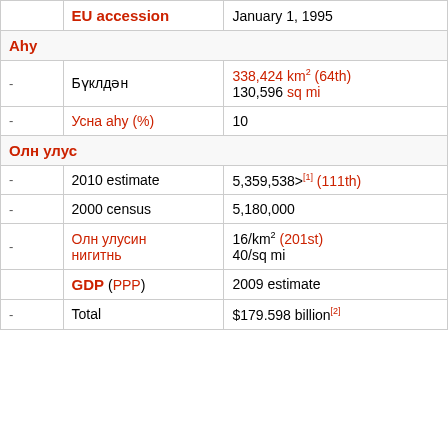| EU accession |  | January 1, 1995 |
| Аhy |  |  |
| - | Бүклдән | 338,424 km² (64th) 130,596 sq mi |
| - | Усна аhy (%) | 10 |
| Олн улус |  |  |
| - | 2010 estimate | 5,359,538> [1] (111th) |
| - | 2000 census | 5,180,000 |
| - | Олн улусин нигитнь | 16/km² (201st) 40/sq mi |
| GDP (PPP) |  | 2009 estimate |
| - | Total | $179.598 billion [2] |